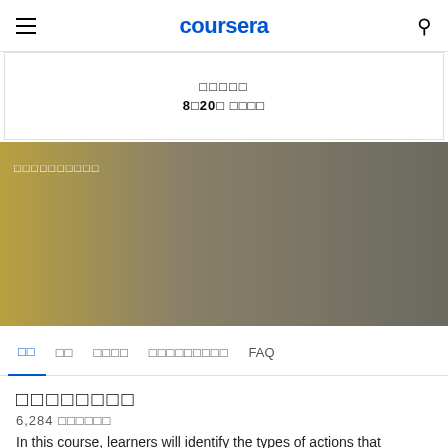coursera
[Figure (screenshot): White card with Japanese/CJK text and text '8□20□ □□□□']
[Figure (other): Gold to gray gradient banner with white CJK text overlay]
□□ □□ □□□□ □□□□□□□□□ FAQ
□□□□□□□□
6,284 □□□□□□
In this course, learners will identify the types of actions that